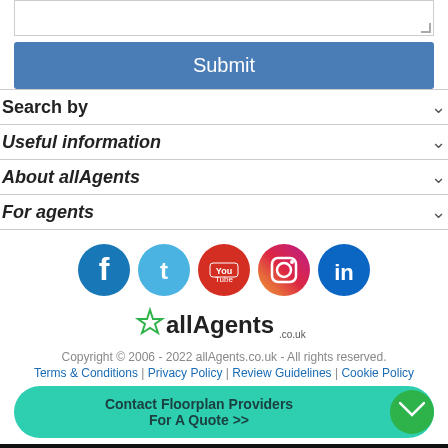[Textarea input field]
Submit
Search by
Useful information
About allAgents
For agents
[Figure (logo): Social media icons: Facebook, Twitter, YouTube, Instagram, LinkedIn]
[Figure (logo): allAgents logo with star icon and .co.uk text]
Copyright © 2006 - 2022 allAgents.co.uk - All rights reserved.
Terms & Conditions | Privacy Policy | Review Guidelines | Cookie Policy
Contact Floorplan Providers
For A Quote >>
We use cookies to track usage and preferences.
I Understand
Cookie Policy